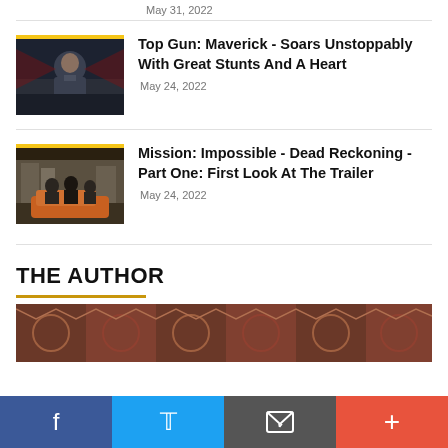May 31, 2022
[Figure (photo): Movie still from Top Gun: Maverick showing Tom Cruise in dark jacket]
Top Gun: Maverick - Soars Unstoppably With Great Stunts And A Heart
May 24, 2022
[Figure (photo): Movie still from Mission: Impossible - Dead Reckoning showing characters in orange vehicle]
Mission: Impossible - Dead Reckoning - Part One: First Look At The Trailer
May 24, 2022
THE AUTHOR
[Figure (photo): Author banner image with decorative background]
Social share bar: Facebook, Twitter, Email, More